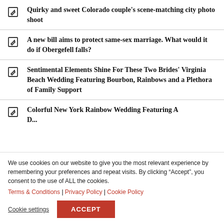Quirky and sweet Colorado couple's scene-matching city photo shoot
A new bill aims to protect same-sex marriage. What would it do if Obergefell falls?
Sentimental Elements Shine For These Two Brides' Virginia Beach Wedding Featuring Bourbon, Rainbows and a Plethora of Family Support
Colorful New York Rainbow Wedding Featuring A...
We use cookies on our website to give you the most relevant experience by remembering your preferences and repeat visits. By clicking “Accept”, you consent to the use of ALL the cookies. Terms & Conditions | Privacy Policy | Cookie Policy
Cookie settings | ACCEPT